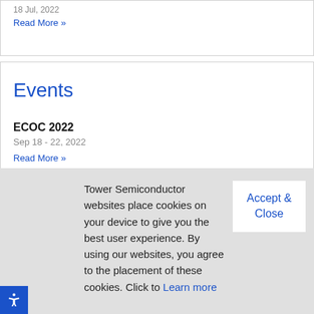18 Jul, 2022
Read More »
Events
ECOC 2022
Sep 18 - 22, 2022
Read More »
Tower Semiconductor websites place cookies on your device to give you the best user experience. By using our websites, you agree to the placement of these cookies. Click to Learn more
Accept & Close